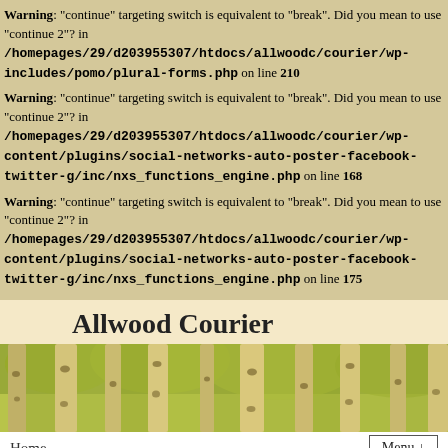Warning: "continue" targeting switch is equivalent to "break". Did you mean to use "continue 2"? in /homepages/29/d203955307/htdocs/allwoodc/courier/wp-includes/pomo/plural-forms.php on line 210
Warning: "continue" targeting switch is equivalent to "break". Did you mean to use "continue 2"? in /homepages/29/d203955307/htdocs/allwoodc/courier/wp-content/plugins/social-networks-auto-poster-facebook-twitter-g/inc/nxs_functions_engine.php on line 168
Warning: "continue" targeting switch is equivalent to "break". Did you mean to use "continue 2"? in /homepages/29/d203955307/htdocs/allwoodc/courier/wp-content/plugins/social-networks-auto-poster-facebook-twitter-g/inc/nxs_functions_engine.php on line 175
Allwood Courier
[Figure (photo): Banner photo of birch/aspen tree trunks in a forest with green foliage]
Home    Menu ↓
← Project: Butterfly Garden    Artifact – Antikythera Mechanism →